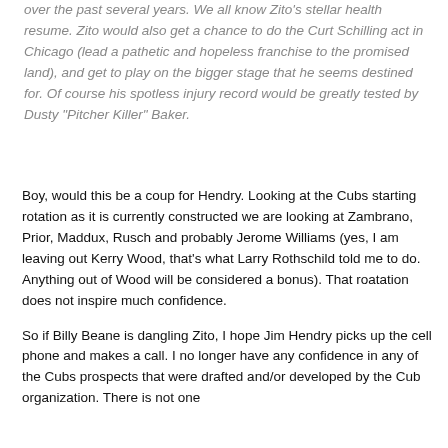over the past several years. We all know Zito's stellar health resume. Zito would also get a chance to do the Curt Schilling act in Chicago (lead a pathetic and hopeless franchise to the promised land), and get to play on the bigger stage that he seems destined for. Of course his spotless injury record would be greatly tested by Dusty "Pitcher Killer" Baker.
Boy, would this be a coup for Hendry. Looking at the Cubs starting rotation as it is currently constructed we are looking at Zambrano, Prior, Maddux, Rusch and probably Jerome Williams (yes, I am leaving out Kerry Wood, that's what Larry Rothschild told me to do. Anything out of Wood will be considered a bonus). That roatation does not inspire much confidence.
So if Billy Beane is dangling Zito, I hope Jim Hendry picks up the cell phone and makes a call. I no longer have any confidence in any of the Cubs prospects that were drafted and/or developed by the Cub organization. There is not one